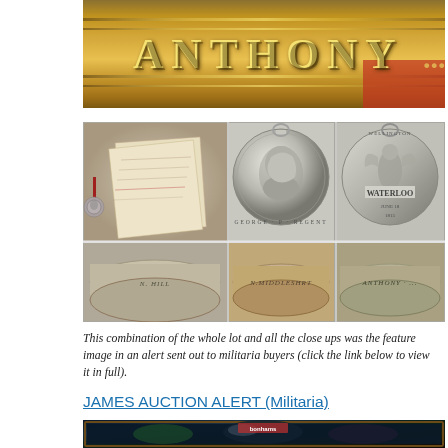[Figure (photo): Close-up cropped photo of an engraved silver medal edge showing the inscription ANTHONY in raised letters, gold/bronze colored background]
[Figure (photo): Collection of medal photos: top-left shows a small miniature medal with a paper label/document behind it; top-center shows obverse of a large silver Waterloo medal with portrait of George III/Regent; top-right shows reverse of Waterloo medal with Wellington figure and WATERLOO / JUNE 18 inscription; bottom row shows three close-up edge views of the medal showing engraved name text]
This combination of the whole lot and all the close ups was the feature image in an alert sent out to militaria buyers (click the link below to view it in full).
JAMES AUCTION ALERT (Militaria)
[Figure (photo): Partially visible bottom photo showing a dark artwork or painting, cropped at top of frame]